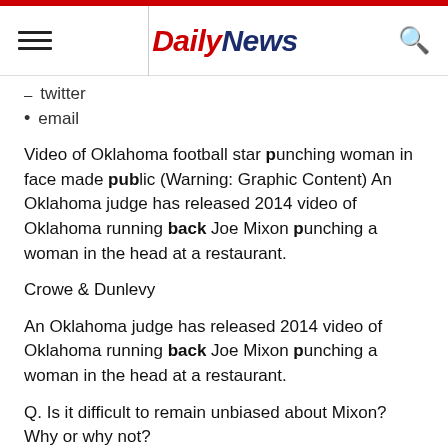Daily News
twitter
email
Video of Oklahoma football star punching woman in face made public (Warning: Graphic Content) An Oklahoma judge has released 2014 video of Oklahoma running back Joe Mixon punching a woman in the head at a restaurant.
Crowe & Dunlevy
An Oklahoma judge has released 2014 video of Oklahoma running back Joe Mixon punching a woman in the head at a restaurant.
Q. Is it difficult to remain unbiased about Mixon? Why or why not?
Norris: Yes. Of course. So the best maneuver is to